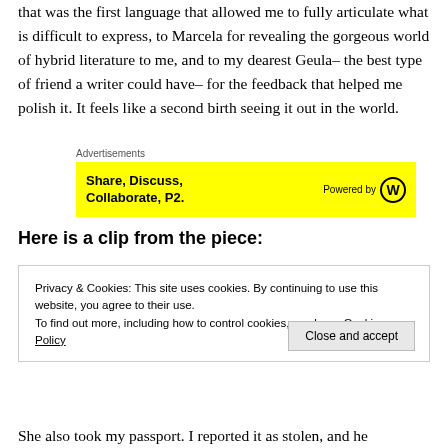that was the first language that allowed me to fully articulate what is difficult to express, to Marcela for revealing the gorgeous world of hybrid literature to me, and to my dearest Geula– the best type of friend a writer could have– for the feedback that helped me polish it. It feels like a second birth seeing it out in the world.
[Figure (other): Advertisement banner: yellow background with bold text 'Share, Discuss, Collaborate, P2.' and 'Powered by [WordPress logo]' on the right. Labeled 'Advertisements' above.]
Here is a clip from the piece:
Privacy & Cookies: This site uses cookies. By continuing to use this website, you agree to their use.
To find out more, including how to control cookies, see here: Cookie Policy
She also took my passport. I reported it as stolen, and he